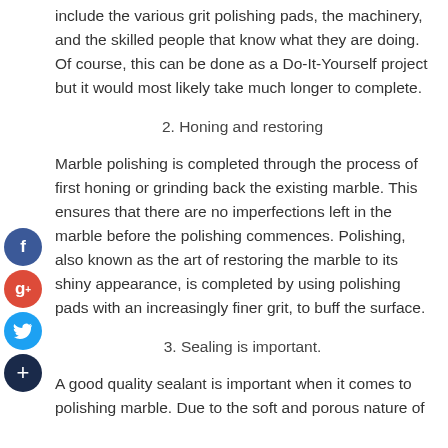include the various grit polishing pads, the machinery, and the skilled people that know what they are doing. Of course, this can be done as a Do-It-Yourself project but it would most likely take much longer to complete.
2. Honing and restoring
Marble polishing is completed through the process of first honing or grinding back the existing marble. This ensures that there are no imperfections left in the marble before the polishing commences. Polishing, also known as the art of restoring the marble to its shiny appearance, is completed by using polishing pads with an increasingly finer grit, to buff the surface.
3. Sealing is important.
A good quality sealant is important when it comes to polishing marble. Due to the soft and porous nature of